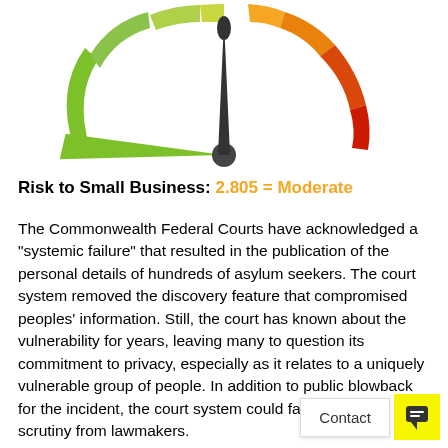[Figure (infographic): A gauge/speedometer dial showing a risk level indicator. The dial has colored segments from green (left/low) through yellow/orange to red (right/high). The needle points near the center-left, indicating a moderate risk level. Left side segments are green, right side segments are red/orange.]
Risk to Small Business: 2.805 = Moderate
The Commonwealth Federal Courts have acknowledged a “systemic failure” that resulted in the publication of the personal details of hundreds of asylum seekers. The court system removed the discovery feature that compromised peoples’ information. Still, the court has known about the vulnerability for years, leaving many to question its commitment to privacy, especially as it relates to a uniquely vulnerable group of people. In addition to public blowback for the incident, the court system could face additional scrutiny from lawmakers.